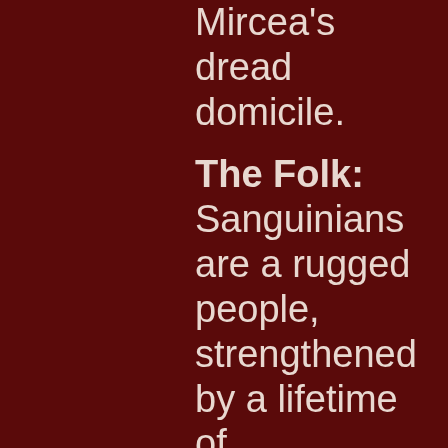Mircea's dread domicile.
The Folk: Sanguinians are a rugged people, strengthened by a lifetime of